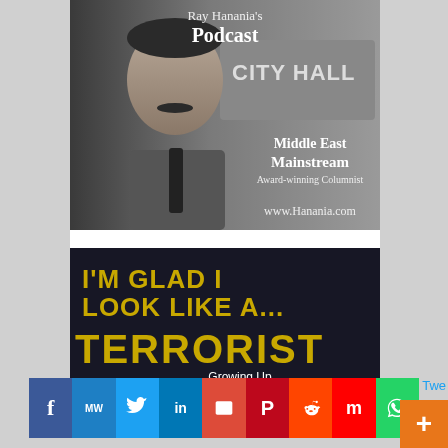[Figure (photo): Ray Hanania's Podcast promotional image: black and white photo of a man in a suit and tie in front of a 'CITY HALL' sign. Text overlays read 'Ray Hanania's Podcast', 'Middle East Mainstream', 'Award-winning Columnist', 'www.Hanania.com']
[Figure (photo): Book cover for 'I'm Glad I Look Like A... TERRORIST: Growing Up Arab In America — Humor and reality in the...' with dark background and bold gold/yellow text]
[Figure (infographic): Social media sharing bar with buttons: Facebook (f), MW, Twitter bird, LinkedIn (in), Email (envelope), Pinterest (P), Reddit alien, Mix (m), WhatsApp]
Twe